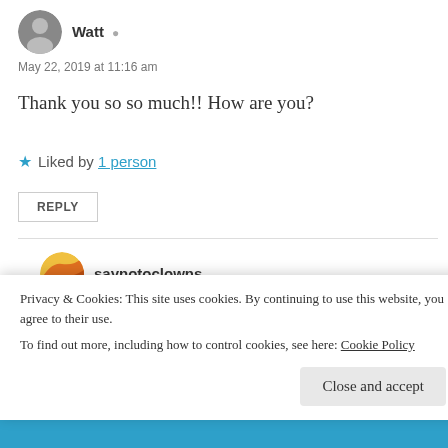Watt
May 22, 2019 at 11:16 am
Thank you so so much!! How are you?
★ Liked by 1 person
REPLY
saynotoclowns
May 28, 2019 at 8:57 am
I'm so sorry I missed this comment. I haven't been
Privacy & Cookies: This site uses cookies. By continuing to use this website, you agree to their use.
To find out more, including how to control cookies, see here: Cookie Policy
Close and accept